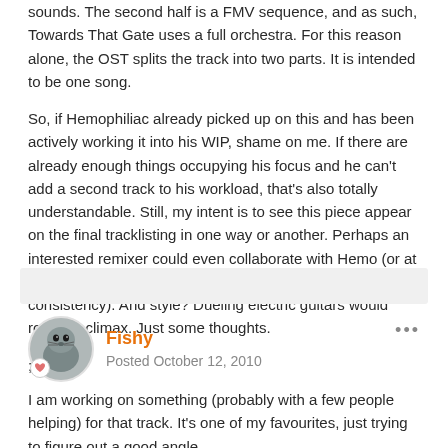sounds. The second half is a FMV sequence, and as such, Towards That Gate uses a full orchestra. For this reason alone, the OST splits the track into two parts. It is intended to be one song.
So, if Hemophiliac already picked up on this and has been actively working it into his WIP, shame on me. If there are already enough things occupying his focus and he can't add a second track to his workload, that's also totally understandable. Still, my intent is to see this piece appear on the final tracklisting in one way or another. Perhaps an interested remixer could even collaborate with Hemo (or at the least find out what key he's working in to have some consistency). And style? Dueling electric guitars would rock the climax. Just some thoughts.
;D
Fishy
Posted October 12, 2010
I am working on something (probably with a few people helping) for that track. It's one of my favourites, just trying to figure out a good angle.